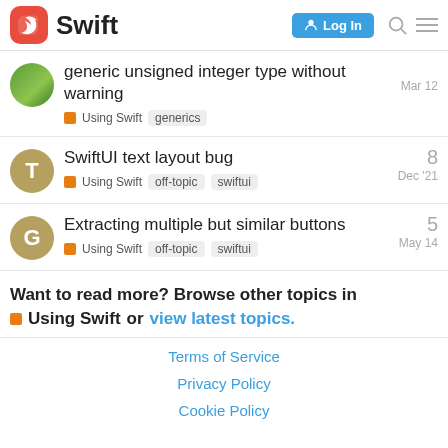Swift — Log In
generic unsigned integer type without warning — Using Swift, generics — Mar 12
SwiftUI text layout bug — Using Swift, off-topic, swiftui — 8 — Dec '21
Extracting multiple but similar buttons — Using Swift, off-topic, swiftui — 5 — May 14
Want to read more? Browse other topics in Using Swift or view latest topics.
Terms of Service  Privacy Policy  Cookie Policy